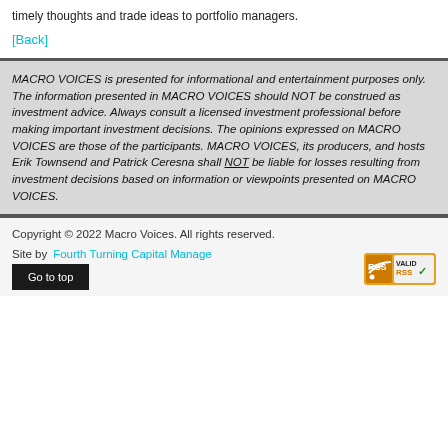timely thoughts and trade ideas to portfolio managers.
[Back]
MACRO VOICES is presented for informational and entertainment purposes only. The information presented in MACRO VOICES should NOT be construed as investment advice. Always consult a licensed investment professional before making important investment decisions. The opinions expressed on MACRO VOICES are those of the participants. MACRO VOICES, its producers, and hosts Erik Townsend and Patrick Ceresna shall NOT be liable for losses resulting from investment decisions based on information or viewpoints presented on MACRO VOICES.
Copyright © 2022 Macro Voices. All rights reserved.
Site by Fourth Turning Capital Management. Go to top
[Figure (logo): Valid RSS badge with orange RSS icon and checkmark]